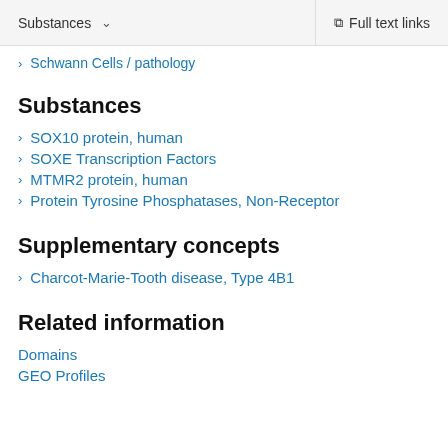Substances   ∨   Full text links
Schwann Cells / pathology
Substances
SOX10 protein, human
SOXE Transcription Factors
MTMR2 protein, human
Protein Tyrosine Phosphatases, Non-Receptor
Supplementary concepts
Charcot-Marie-Tooth disease, Type 4B1
Related information
Domains
GEO Profiles